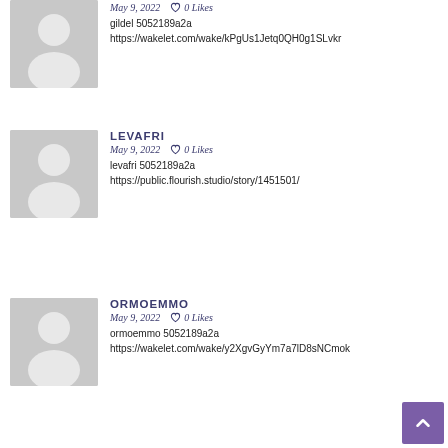[Figure (illustration): Partial user post (top-cropped): avatar placeholder, gildel 5052189a2a, https://wakelet.com/wake/kPgUs1Jetq0QH0g1SLvkr]
gildel 5052189a2a
https://wakelet.com/wake/kPgUs1Jetq0QH0g1SLvkr
LEVAFRI
May 9, 2022   0 Likes
levafri 5052189a2a
https://public.flourish.studio/story/1451501/
ORMOEMMO
May 9, 2022   0 Likes
ormoemmo 5052189a2a
https://wakelet.com/wake/y2XgvGyYm7a7lD8sNCmok